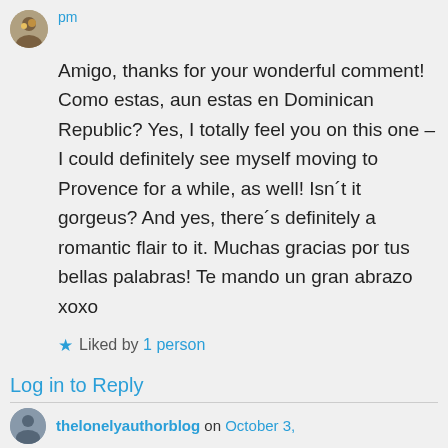pm
Amigo, thanks for your wonderful comment! Como estas, aun estas en Dominican Republic? Yes, I totally feel you on this one – I could definitely see myself moving to Provence for a while, as well! Isn´t it gorgeus? And yes, there´s definitely a romantic flair to it. Muchas gracias por tus bellas palabras! Te mando un gran abrazo xoxo
★ Liked by 1 person
Log in to Reply
thelonelyauthorblog on October 3,